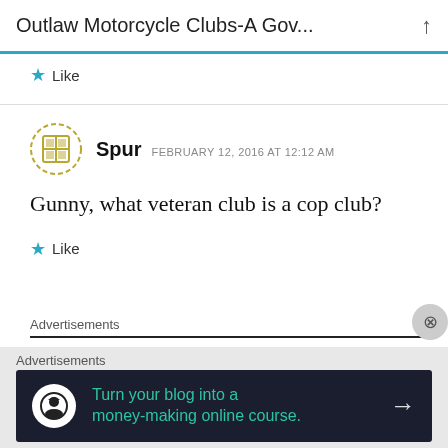Outlaw Motorcycle Clubs-A Gov...
Like
Spur  FEBRUARY 12, 2016 AT 12:12 AM
Gunny, what veteran club is a cop club?
Like
Advertisements
Advertisements
Turn your blog into a money-making online course.